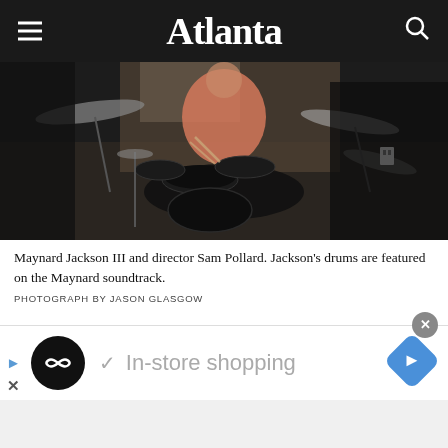Atlanta
[Figure (photo): Maynard Jackson III playing drums in a studio setting with drum kit, cymbals visible. Director Sam Pollard present.]
Maynard Jackson III and director Sam Pollard. Jackson’s drums are featured on the Maynard soundtrack.
PHOTOGRAPH BY JASON GLASGOW
Production on Maynard took more than two years. Wendy Eley Jackson is a veteran of the film and TV industry and one of the executive producers. The
[Figure (screenshot): Advertisement banner: In-store shopping ad with play button, logo circle, checkmark, navigation diamond icon, and close X button.]